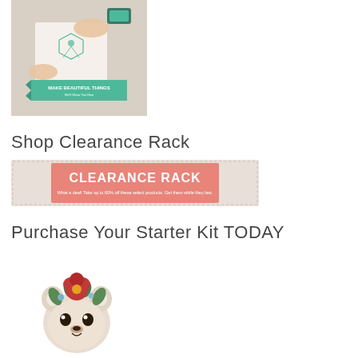[Figure (photo): Hands stamping a card with a floral hexagon design and teal ink pad; banner reads 'MAKE BEAUTIFUL THINGS We'll Show You How']
Shop Clearance Rack
[Figure (illustration): Clearance Rack banner in pink/salmon color with white bold text 'CLEARANCE RACK' and smaller text 'What a deal! Take up to 60% off these select products. Get them while they last.']
Purchase Your Starter Kit TODAY
[Figure (illustration): Cute illustrated baby animal (bear/koala) with floral crown of red flowers and green leaves, watercolor style]